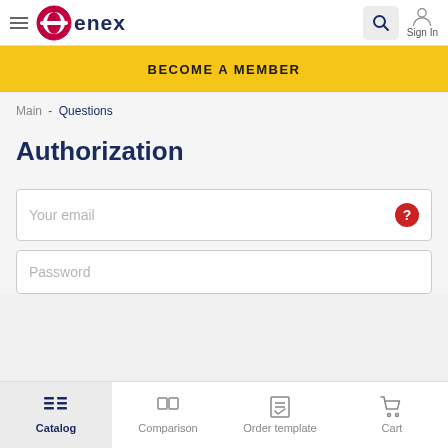enex navigation bar with hamburger menu, logo, search button, and Sign In
BECOME A MEMBER
Main - Questions
Authorization
Your email
Password
Catalog | Comparison | Order template | Cart